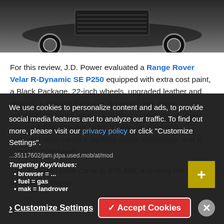[Figure (photo): Partial view of a Range Rover Velar from below/front, showing the grille and wheels against a dark background]
For this review, J.D. Power evaluated a Range Rover Velar R-Dynamic SE P250 equipped with extra cost paint, a Black Package, 22-inch wheels, upgraded leather and seating, a Climate Package, a heated and power adjustable steering wheel, a heated windshield, ambient cabin lighting, satellite radio, a head-up display, a surround-view camera, parking assist technology, and a Drive Pro Package.
The as-tested price came to $76,850, including the $995 destination charge.
We use cookies to personalize content and ads, to provide social media features and to analyze our traffic. To find out more, please visit our privacy policy or click "Customize Settings".
...35117602/jam.jdpa.used.mob/at/mod
Targeting Key/Values:
browser = ...
fuel = gas
mak = landrover